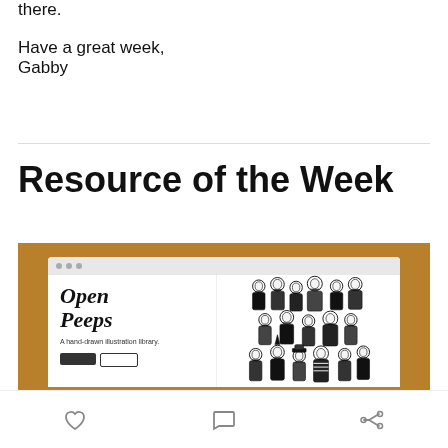there.
Have a great week,
Gabby
Resource of the Week
[Figure (screenshot): Screenshot of the Open Peeps website — a hand-drawn illustration library — showing the site header with browser chrome, the 'Open Peeps' italic serif logo on the left, the tagline 'A hand-drawn illustration library.' below it, two call-to-action buttons, and a dense black-and-white illustration of many cartoon people on the right side. The screenshot is framed with a golden/amber border.]
Like, Comment, Share icons